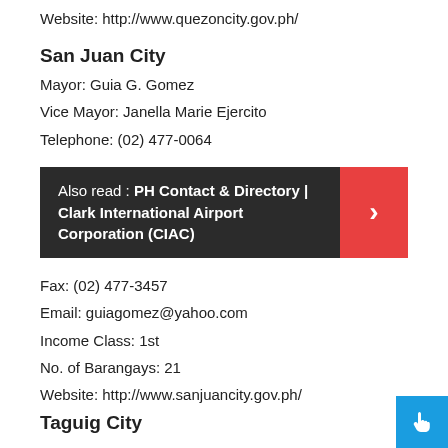Website: http://www.quezoncity.gov.ph/
San Juan City
Mayor: Guia G. Gomez
Vice Mayor: Janella Marie Ejercito
Telephone: (02) 477-0064
[Figure (other): Dark banner with text 'Also read : PH Contact & Directory | Clark International Airport Corporation (CIAC)' and a red arrow button on the right]
Fax: (02) 477-3457
Email: guiagomez@yahoo.com
Income Class: 1st
No. of Barangays: 21
Website: http://www.sanjuancity.gov.ph/
Taguig City